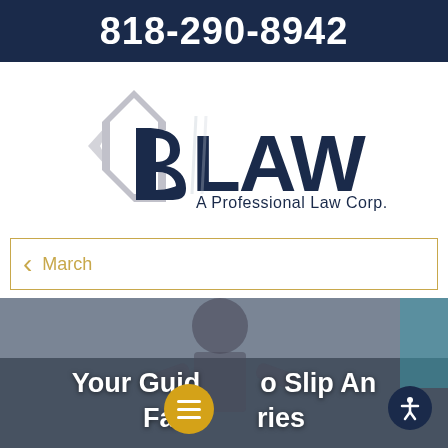818-290-8942
[Figure (logo): GB LAW - A Professional Law Corp. logo with stylized GB letters in dark navy and gray]
< March
[Figure (photo): Photo of a person with text overlay reading: Your Guide to Slip And Fall Injuries, with a hamburger menu button and accessibility button overlay]